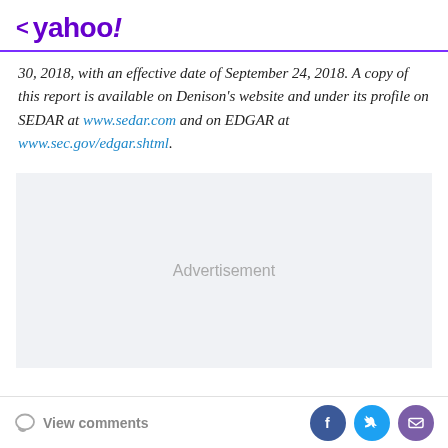< yahoo!
30, 2018, with an effective date of September 24, 2018. A copy of this report is available on Denison's website and under its profile on SEDAR at www.sedar.com and on EDGAR at www.sec.gov/edgar.shtml.
[Figure (other): Advertisement placeholder box]
View comments | Social share buttons for Facebook, Twitter, Email